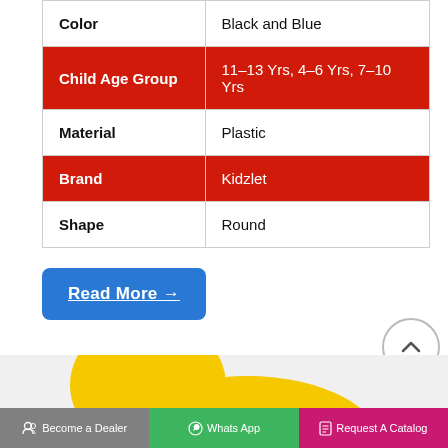| Attribute | Value |
| --- | --- |
| Color | Black and Blue |
| Child Age Group | 11–13 Yrs, 4–6 Yrs, 7–10 Yrs |
| Material | Plastic |
| Brand | Kidzlet |
| Shape | Round |
Read More →
[Figure (photo): Yellow toy product image, partially visible at bottom of page]
Become a Dealer | Whats App | Request A Catalog